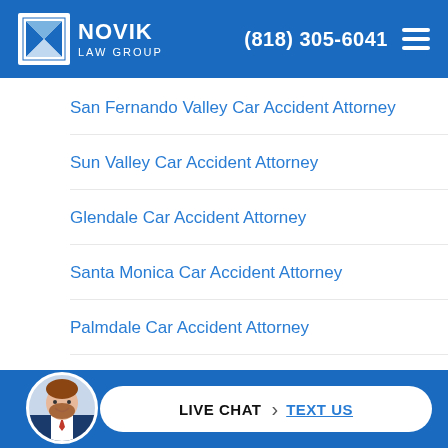Novik Law Group | (818) 305-6041
San Fernando Valley Car Accident Attorney
Sun Valley Car Accident Attorney
Glendale Car Accident Attorney
Santa Monica Car Accident Attorney
Palmdale Car Accident Attorney
Torrance Car Accident Attorney
LIVE CHAT | TEXT US